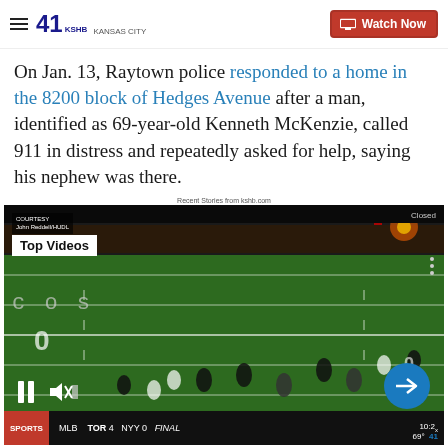41 KSHB KANSAS CITY — Watch Now
On Jan. 13, Raytown police responded to a home in the 8200 block of Hedges Avenue after a man, identified as 69-year-old Kenneth McKenzie, called 911 in distress and repeatedly asked for help, saying his nephew was there.
Recent Stories from kshb.com
[Figure (screenshot): Video player screenshot showing a football game (night game, green field with yard lines visible, players in action). Overlays include a COURTESY/John Reddell/HUDL label, a 'Top Videos' badge, playback controls (pause and mute icons), a blue arrow next to button, and a bottom ticker bar showing SPORTS | MLB | TOR 4 NYY 0 FINAL | 10:2x | 69° | KSHB.]